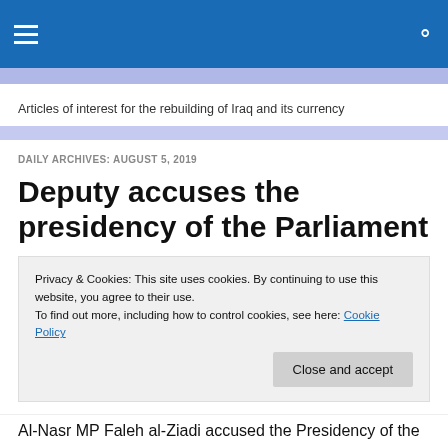≡  🔍
Articles of interest for the rebuilding of Iraq and its currency
DAILY ARCHIVES: AUGUST 5, 2019
Deputy accuses the presidency of the Parliament
Privacy & Cookies: This site uses cookies. By continuing to use this website, you agree to their use.
To find out more, including how to control cookies, see here: Cookie Policy
Al-Nasr MP Faleh al-Ziadi accused the Presidency of the